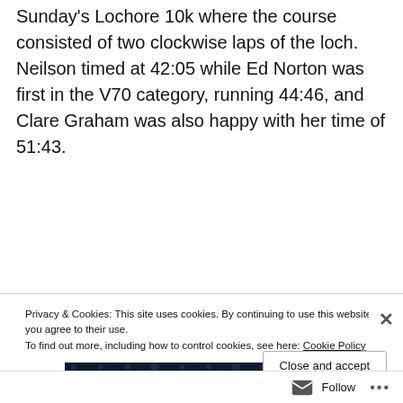Sunday's Lochore 10k where the course consisted of two clockwise laps of the loch. Neilson timed at 42:05 while Ed Norton was first in the V70 category, running 44:46, and Clare Graham was also happy with her time of 51:43.
[Figure (other): Crowdsignal advertisement banner on dark navy background with text 'polls, quizzes, and forms.', a pink 'Start now' button, WordPress logo bottom left, and Crowdsignal logo bottom right.]
Privacy & Cookies: This site uses cookies. By continuing to use this website, you agree to their use.
To find out more, including how to control cookies, see here: Cookie Policy
Close and accept
Follow •••